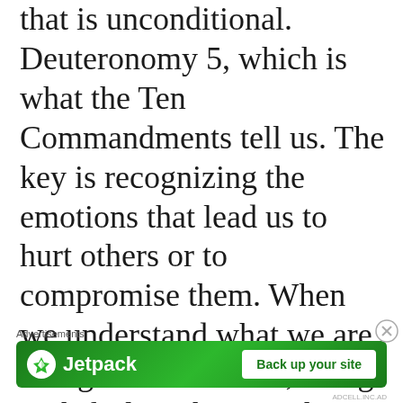that is unconditional. Deuteronomy 5, which is what the Ten Commandments tell us. The key is recognizing the emotions that lead us to hurt others or to compromise them. When we understand what we are doing to one another, along with feeling the pain that we have sown, we often find that we have
[Figure (screenshot): Jetpack advertisement banner with green background, Jetpack logo on the left and 'Back up your site' button on the right]